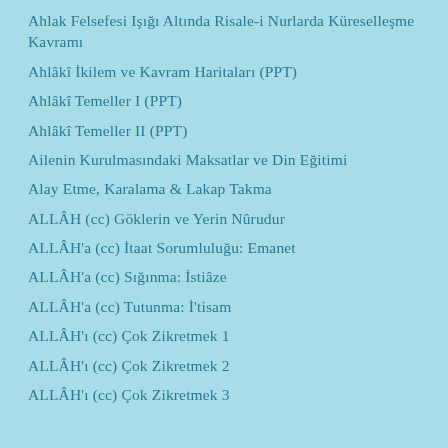Ahlak Felsefesi Işığı Altında Risale-i Nurlarda Küreselleşme Kavramı
Ahlâkî İkilem ve Kavram Haritaları (PPT)
Ahlâkî Temeller I (PPT)
Ahlâkî Temeller II (PPT)
Ailenin Kurulmasındaki Maksatlar ve Din Eğitimi
Alay Etme, Karalama & Lakap Takma
ALLÂH (cc) Göklerin ve Yerin Nûrudur
ALLÂH'a (cc) İtaat Sorumluluğu: Emanet
ALLÂH'a (cc) Sığınma: İstiâze
ALLÂH'a (cc) Tutunma: İ'tisam
ALLÂH'ı (cc) Çok Zikretmek 1
ALLÂH'ı (cc) Çok Zikretmek 2
ALLÂH'ı (cc) Çok Zikretmek 3